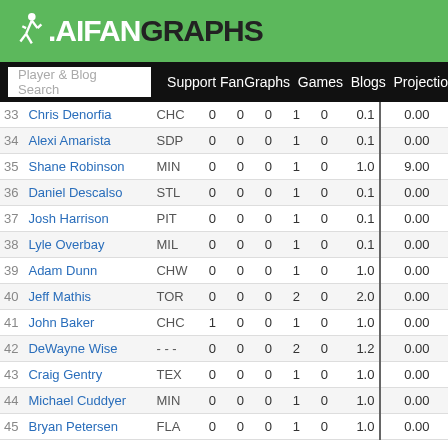FanGraphs
Player & Blog Search  Support FanGraphs Games Blogs Projections
| # | Name | Team | W | L | SV | G | HLD | IP | ERA | FIP |
| --- | --- | --- | --- | --- | --- | --- | --- | --- | --- | --- |
| 33 | Chris Denorfia | CHC | 0 | 0 | 0 | 1 | 0 | 0.1 | 0.00 | 0.00 |
| 34 | Alexi Amarista | SDP | 0 | 0 | 0 | 1 | 0 | 0.1 | 0.00 | 0.00 |
| 35 | Shane Robinson | MIN | 0 | 0 | 0 | 1 | 0 | 1.0 | 9.00 | 9.00 |
| 36 | Daniel Descalso | STL | 0 | 0 | 0 | 1 | 0 | 0.1 | 0.00 | 0.00 |
| 37 | Josh Harrison | PIT | 0 | 0 | 0 | 1 | 0 | 0.1 | 0.00 | 0.00 |
| 38 | Lyle Overbay | MIL | 0 | 0 | 0 | 1 | 0 | 0.1 | 0.00 | 0.00 |
| 39 | Adam Dunn | CHW | 0 | 0 | 0 | 1 | 0 | 1.0 | 0.00 | 9.00 |
| 40 | Jeff Mathis | TOR | 0 | 0 | 0 | 2 | 0 | 2.0 | 0.00 | 4.50 |
| 41 | John Baker | CHC | 1 | 0 | 0 | 1 | 0 | 1.0 | 0.00 | 9.00 |
| 42 | DeWayne Wise | - - - | 0 | 0 | 0 | 2 | 0 | 1.2 | 0.00 | 5.40 |
| 43 | Craig Gentry | TEX | 0 | 0 | 0 | 1 | 0 | 1.0 | 0.00 | 9.00 |
| 44 | Michael Cuddyer | MIN | 0 | 0 | 0 | 1 | 0 | 1.0 | 0.00 | 9.00 |
| 45 | Bryan Petersen | FLA | 0 | 0 | 0 | 1 | 0 | 1.0 | 0.00 | 9.00 |